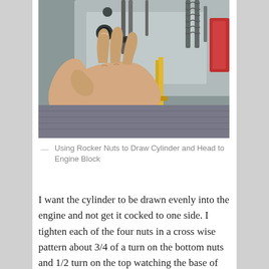[Figure (photo): A hand holding and turning rocker nuts on an engine, using a yellow tool to draw the cylinder and head to the engine block. Engine parts including springs and bolts are visible.]
— Using Rocker Nuts to Draw Cylinder and Head to Engine Block
I want the cylinder to be drawn evenly into the engine and not get it cocked to one side. I tighten each of the four nuts in a cross wise pattern about 3/4 of a turn on the bottom nuts and 1/2 turn on the top watching the base of